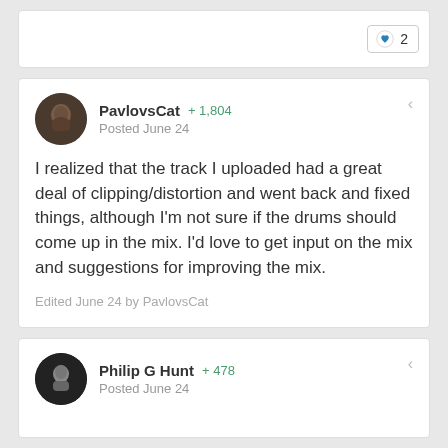2
PavlovsCat +1,804 Posted June 24
I realized that the track I uploaded had a great deal of clipping/distortion and went back and fixed things, although I'm not sure if the drums should come up in the mix. I'd love to get input on the mix and suggestions for improving the mix.
Edited June 24 by PavlovsCat
Philip G Hunt +478 Posted June 24